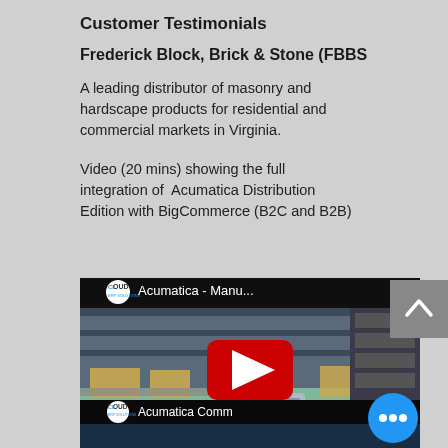Customer Testimonials
Frederick Block, Brick & Stone (FBBS
A leading distributor of masonry and hardscape products for residential and commercial markets in Virginia.
Video (20 mins) showing the full integration of  Acumatica Distribution Edition with BigCommerce (B2C and B2B)
[Figure (screenshot): YouTube video thumbnail showing warehouse automation scene with Cloud ERP Solutions / Acumatica logo, title 'Acumatica - Manu...' and YouTube play button]
[Figure (screenshot): Second YouTube video thumbnail showing 'Acumatica Comm' with Cloud ERP Solutions logo (partially visible)]